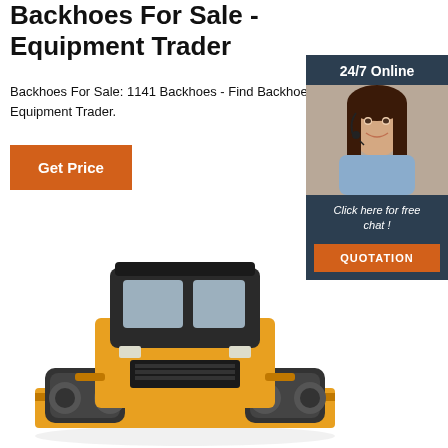Backhoes For Sale - Equipment Trader
Backhoes For Sale: 1141 Backhoes - Find Backhoes on Equipment Trader.
[Figure (screenshot): Orange 'Get Price' button]
[Figure (infographic): Dark blue advertisement box with '24/7 Online' header, photo of a smiling woman with headset, text 'Click here for free chat!' and an orange QUOTATION button]
[Figure (photo): Yellow bulldozer/construction equipment front view on white background]